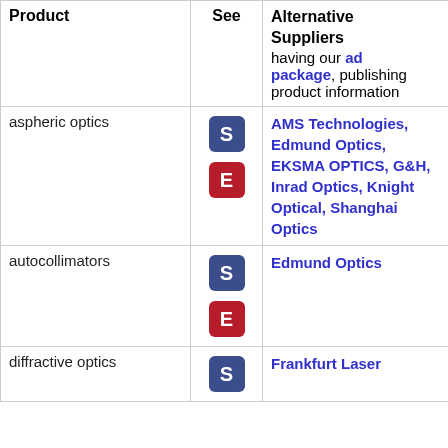| Product | See | Alternative Suppliers |
| --- | --- | --- |
|  |  | having our ad package, publishing product information |
| aspheric optics | S E | AMS Technologies, Edmund Optics, EKSMA OPTICS, G&H, Inrad Optics, Knight Optical, Shanghai Optics |
| autocollimators | S E | Edmund Optics |
| diffractive optics | S | Frankfurt Laser |